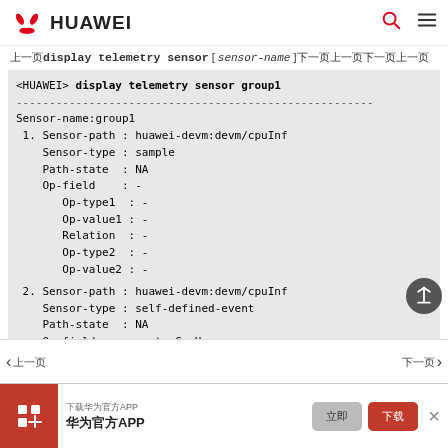HUAWEI
display telemetry sensor [ sensor-name ] command navigation
<HUAWEI> display telemetry sensor group1
------------------------------------------------------------
Sensor-name:group1
 1. Sensor-path : huawei-devm:devm/cpuInf
    Sensor-type : sample
    Path-state  : NA
    Op-field    : -
       Op-type1  : -
       Op-value1 : -
       Relation  : -
       Op-type2  : -
       Op-value2 : -
       Policy    : -
 2. Sensor-path : huawei-devm:devm/cpuInf
    Sensor-type : self-defined-event
    Path-state  : NA
    Op-field    : customCpuUsage
上一页  下一页